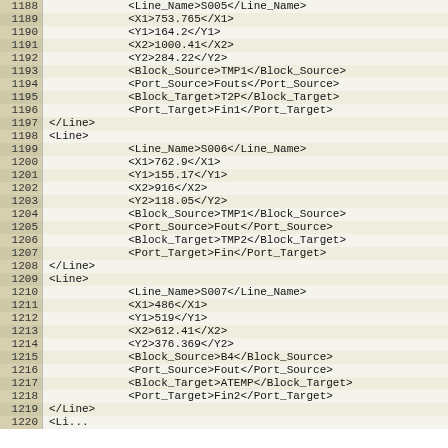XML code listing, lines 1188-1219, showing Line elements with sub-elements: Line_Name, X1, Y1, X2, Y2, Block_Source, Port_Source, Block_Target, Port_Target for entries S005, S006, S007.